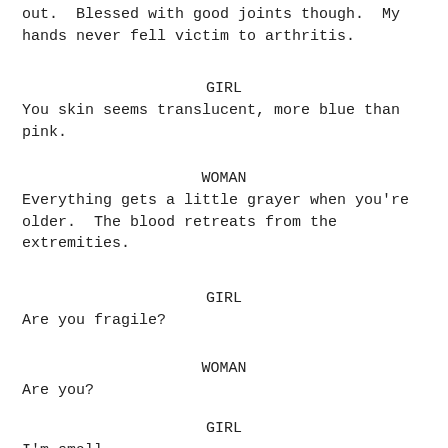out.  Blessed with good joints though.  My hands never fell victim to arthritis.
GIRL
You skin seems translucent, more blue than pink.
WOMAN
Everything gets a little grayer when you're older.  The blood retreats from the extremities.
GIRL
Are you fragile?
WOMAN
Are you?
GIRL
I'm small.